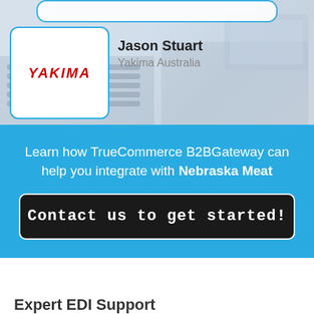[Figure (screenshot): Top section showing a Yakima Australia profile card with a white rounded card containing the Yakima logo in red italic text, alongside the name Jason Stuart and company Yakima Australia, over a faded blue-grey background]
Jason Stuart
Yakima Australia
Learn how TrueCommerce B2BGateway can help you integrate with Nebraska Meat
Contact us to get started!
Expert EDI Support